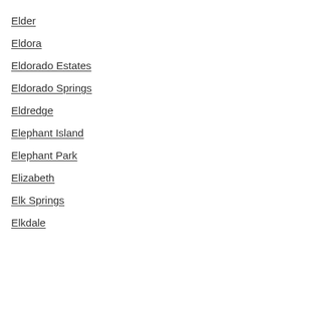Elder
Eldora
Eldorado Estates
Eldorado Springs
Eldredge
Elephant Island
Elephant Park
Elizabeth
Elk Springs
Elkdale